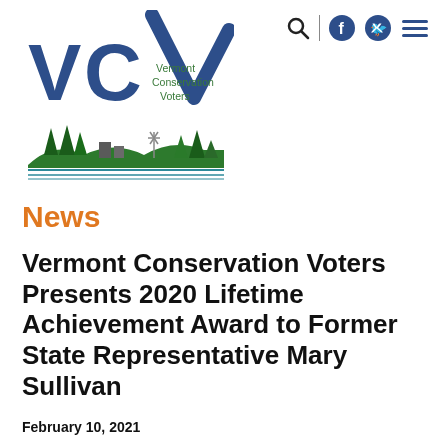[Figure (logo): Vermont Conservation Voters (VCV) logo with landscape scene including windmill, trees, and water]
Search | Facebook | Twitter | Menu icons
News
Vermont Conservation Voters Presents 2020 Lifetime Achievement Award to Former State Representative Mary Sullivan
February 10, 2021